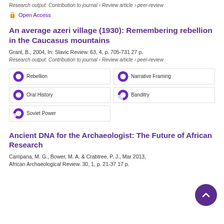Research output: Contribution to journal › Review article › peer-review
Open Access
An average azeri village (1930): Remembering rebellion in the Caucasus mountains
Grant, B., 2004, In: Slavic Review. 63, 4, p. 705-731 27 p.
Research output: Contribution to journal › Review article › peer-review
Rebellion | Narrative Framing | Oral History | Banditry | Soviet Power
Ancient DNA for the Archaeologist: The Future of African Research
Campana, M. G., Bower, M. A. & Crabtree, P. J., Mar 2013, African Archaeological Review. 30, 1, p. 21-37 17 p.